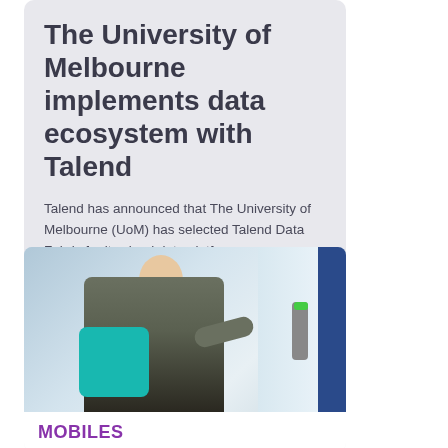The University of Melbourne implements data ecosystem with Talend
Talend has announced that The University of Melbourne (UoM) has selected Talend Data Fabric for its cloud data platform.
[Figure (photo): A woman with a teal gym bag smiling while tapping a door access control device, with a blue door frame visible on the right.]
MOBILES